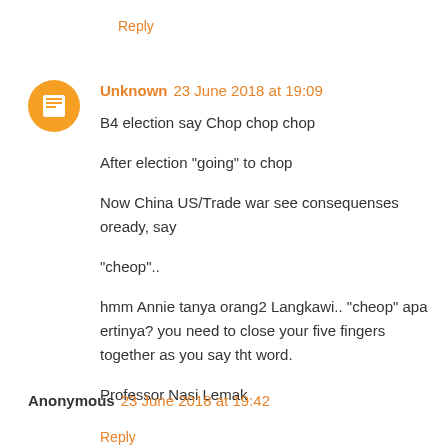Reply
Unknown 23 June 2018 at 19:09
B4 election say Chop chop chop

After election "going" to chop

Now China US/Trade war see consequenses oready, say

"cheop"..

hmm Annie tanya orang2 Langkawi.. "cheop" apa ertinya? you need to close your five fingers together as you say tht word.

Professor Nasi Lemak
Reply
Anonymous 23 June 2018 at 19:42